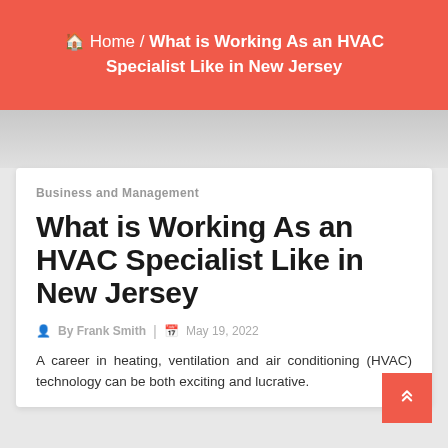Home / What is Working As an HVAC Specialist Like in New Jersey
Business and Management
What is Working As an HVAC Specialist Like in New Jersey
By Frank Smith | May 19, 2022
A career in heating, ventilation and air conditioning (HVAC) technology can be both exciting and lucrative.